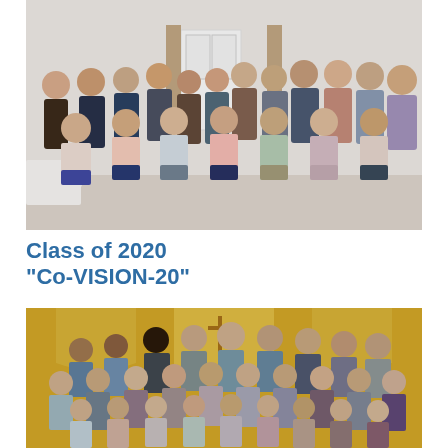[Figure (photo): Group photo of approximately 20 people posed in two rows — one row seated and one row standing — in an indoor venue with white walls and a white door visible in the background. A draped table is visible on the left side.]
Class of 2020
"Co-VISION-20"
[Figure (photo): Group photo of approximately 25–30 people posed in three rows in an indoor venue with warm yellow lighting, arched architectural details, and a cross visible in the background.]